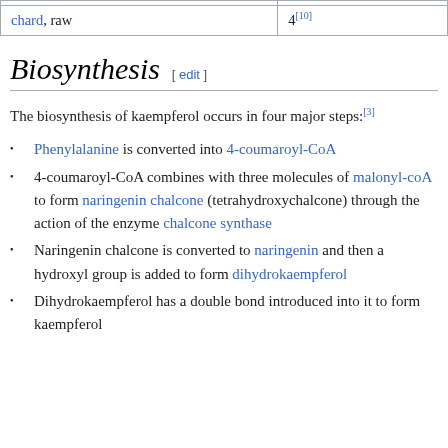|  |  |
| --- | --- |
| chard, raw | 4[10] |
Biosynthesis [ edit ]
The biosynthesis of kaempferol occurs in four major steps:[3]
Phenylalanine is converted into 4-coumaroyl-CoA
4-coumaroyl-CoA combines with three molecules of malonyl-coA to form naringenin chalcone (tetrahydroxychalcone) through the action of the enzyme chalcone synthase
Naringenin chalcone is converted to naringenin and then a hydroxyl group is added to form dihydrokaempferol
Dihydrokaempferol has a double bond introduced into it to form kaempferol